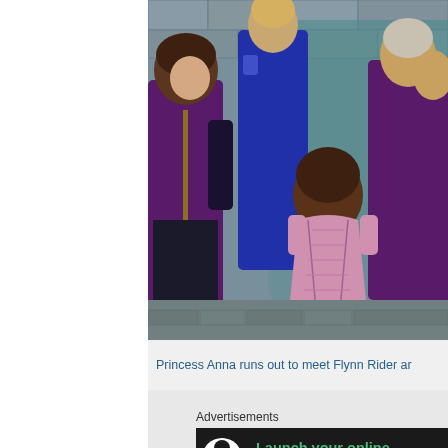[Figure (illustration): Screenshot from an animated film (Frozen/Tangled crossover scene) showing animated characters including a girl in a pink dress with her back to the camera, and several figures in purple and blue outfits standing against a stone wall background.]
Princess Anna runs out to meet Flynn Rider ar
Advertisements
[Figure (screenshot): Advertisement banner with dark background showing a tree/person icon and text: Launch your online course with WordPress]